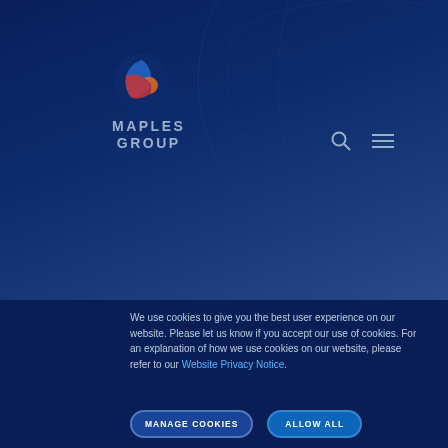[Figure (logo): Maples Group logo with globe/sphere icon in blue, red and orange, with text MAPLES GROUP in light blue]
INDUSTRY UPDATES
Ireland Update: GDPR Fourth Anniversary
We use cookies to give you the best user experience on our website. Please let us know if you accept our use of cookies. For an explanation of how we use cookies on our website, please refer to our Website Privacy Notice.
MANAGE COOKIES
ALLOW ALL